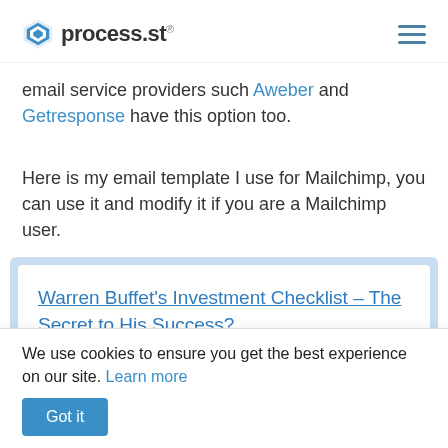process.st
email service providers such Aweber and Getresponse have this option too.
Here is my email template I use for Mailchimp, you can use it and modify it if you are a Mailchimp user.
[Figure (screenshot): Email template preview box with link: Warren Buffet's Investment Checklist – The Secret to His Success?]
We use cookies to ensure you get the best experience on our site. Learn more
Got it